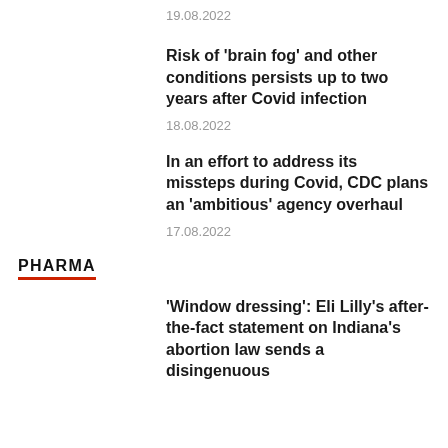19.08.2022
Risk of ‘brain fog’ and other conditions persists up to two years after Covid infection
18.08.2022
In an effort to address its missteps during Covid, CDC plans an ‘ambitious’ agency overhaul
17.08.2022
PHARMA
‘Window dressing’: Eli Lilly’s after-the-fact statement on Indiana’s abortion law sends a disingenuous